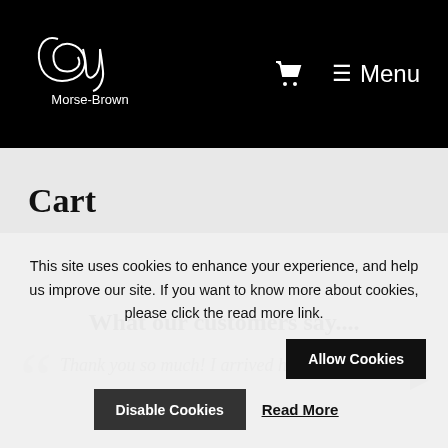Guy Morse-Brown — Navigation header with logo, cart icon, and Menu
Cart
What our customers say....
Thank you so much! I arrived home
This site uses cookies to enhance your experience, and help us improve our site. If you want to know more about cookies, please click the read more link.